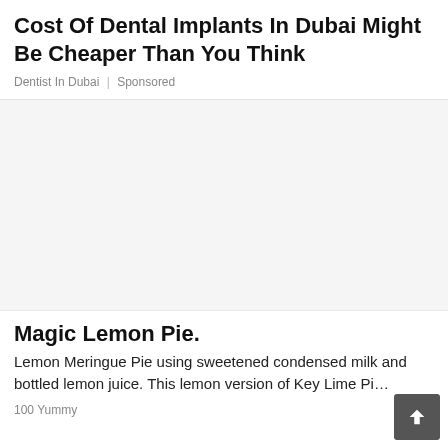Cost Of Dental Implants In Dubai Might Be Cheaper Than You Think
Dentist In Dubai | Sponsored
[Figure (photo): Large image placeholder area (blank/white) for dental implants advertisement]
Magic Lemon Pie.
Lemon Meringue Pie using sweetened condensed milk and bottled lemon juice. This lemon version of Key Lime Pi…
100 Yummy